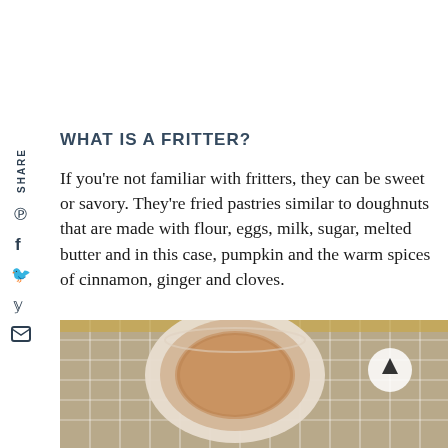WHAT IS A FRITTER?
If you're not familiar with fritters, they can be sweet or savory. They're fried pastries similar to doughnuts that are made with flour, eggs, milk, sugar, melted butter and in this case, pumpkin and the warm spices of cinnamon, ginger and cloves.
[Figure (photo): Overhead photo of a bowl of cinnamon-sugar mixture on a metal cooling rack with a gold tray background]